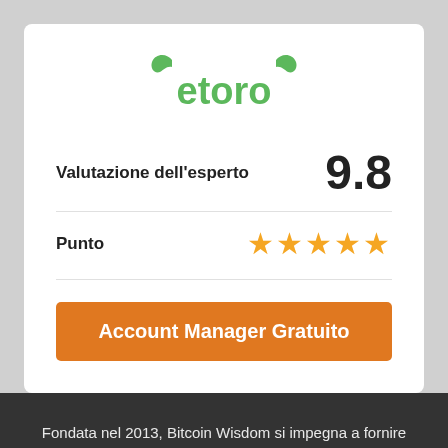[Figure (logo): eToro logo in green with bull horns]
Valutazione dell'esperto  9.8
Punto  ★★★★★
Account Manager Gratuito
Fondata nel 2013, Bitcoin Wisdom si impegna a fornire notizie dettagliate e accurate sui bitcoin, previsioni sui prezzi, guide agli investimenti e recensioni sugli scambi.
[Figure (logo): Bitcoin Wisdom logo at the bottom]